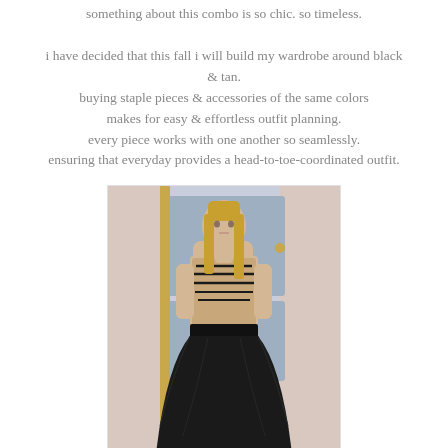something about this combo is so chic. so timeless.

i have decided that this fall i will build my wardrobe around black & tan.
buying staple pieces & accessories of the same colors makes for easy & effortless outfit planning.
every piece works with one another so seamlessly.
ensuring that everyday provides a head-to-toe-coordinated outfit.
[Figure (photo): Fashion runway photo of a female model wearing a tan/beige sleeveless top with black chain necklaces and a black full skirt, standing in front of a light blue and white paneled room with a gold column.]